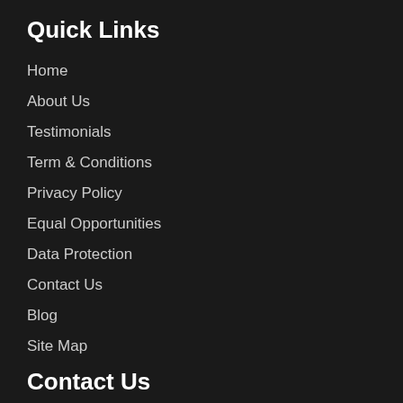Quick Links
Home
About Us
Testimonials
Term & Conditions
Privacy Policy
Equal Opportunities
Data Protection
Contact Us
Blog
Site Map
Contact Us
2nd Floor, Beaumont House